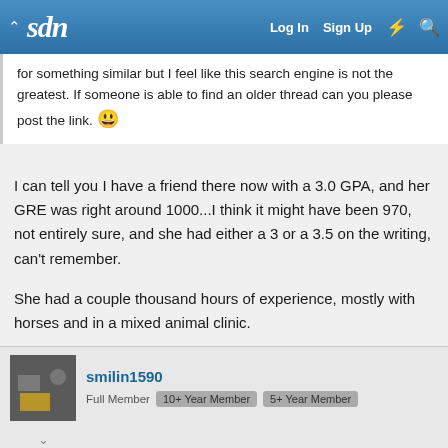sdn — Log In  Sign Up
for something similar but I feel like this search engine is not the greatest. If someone is able to find an older thread can you please post the link. 😀
I can tell you I have a friend there now with a 3.0 GPA, and her GRE was right around 1000...I think it might have been 970, not entirely sure, and she had either a 3 or a 3.5 on the writing, can't remember.
She had a couple thousand hours of experience, mostly with horses and in a mixed animal clinic.
smilin1590
Full Member  10+ Year Member  5+ Year Member
Mar 20, 2010  #3